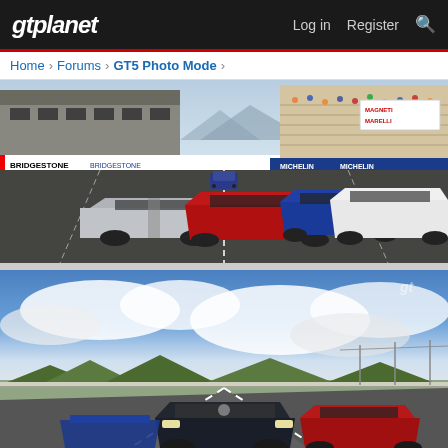gtplanet  Log in  Register
Home > Forums > GT5 Photo Mode >
[Figure (screenshot): Gran Turismo 5 photo mode screenshot showing multiple supercars including a Ford GT, red Ferrari-style car, blue supercar, and white Lamborghini-style car on a race circuit with grandstands and Bridgestone/Michelin advertising banners]
[Figure (screenshot): Gran Turismo 5 photo mode screenshot showing cars including a dark compact car in foreground and red sports car on a road circuit with blue sky and clouds, with guardrails and trees visible]